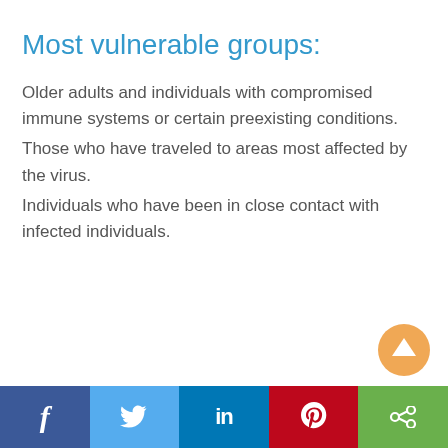Most vulnerable groups:
Older adults and individuals with compromised immune systems or certain preexisting conditions.
Those who have traveled to areas most affected by the virus.
Individuals who have been in close contact with infected individuals.
[Figure (infographic): Orange circular scroll-to-top button with white upward arrow]
Social share bar with Facebook, Twitter, LinkedIn, Pinterest, and Share buttons